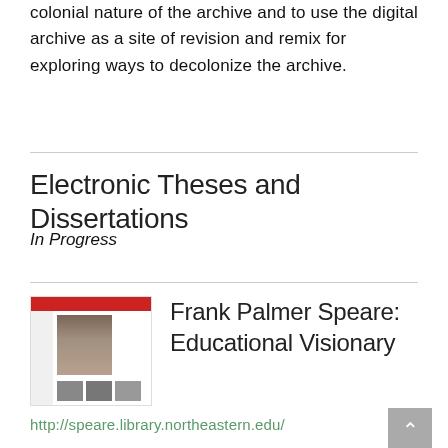colonial nature of the archive and to use the digital archive as a site of revision and remix for exploring ways to decolonize the archive.
Electronic Theses and Dissertations
In Progress
[Figure (screenshot): Thumbnail screenshot of the Frank Palmer Speare digital archive website, showing a red header bar, a sidebar, a portrait photograph, and small thumbnail images at the bottom.]
Frank Palmer Speare: Educational Visionary
http://speare.library.northeastern.edu/
Frank Palmer Speare, Northeastern University's